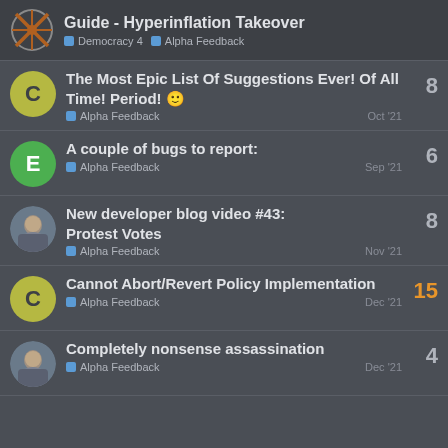Guide - Hyperinflation Takeover | Democracy 4 | Alpha Feedback
The Most Epic List Of Suggestions Ever! Of All Time! Period! | Alpha Feedback | Oct '21 | 8 replies
A couple of bugs to report: | Alpha Feedback | Sep '21 | 6 replies
New developer blog video #43: Protest Votes | Alpha Feedback | Nov '21 | 8 replies
Cannot Abort/Revert Policy Implementation | Alpha Feedback | Dec '21 | 15 replies
Completely nonsense assassination | Alpha Feedback | Dec '21 | 4 replies